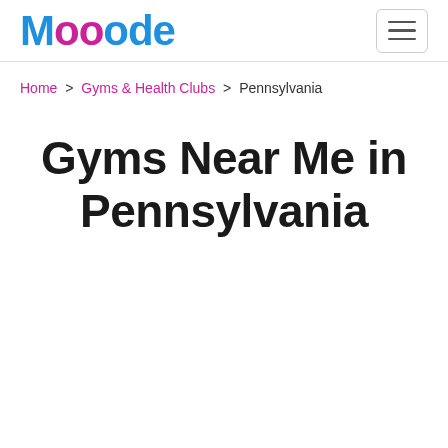Mooode
Home > Gyms & Health Clubs > Pennsylvania
Gyms Near Me in Pennsylvania